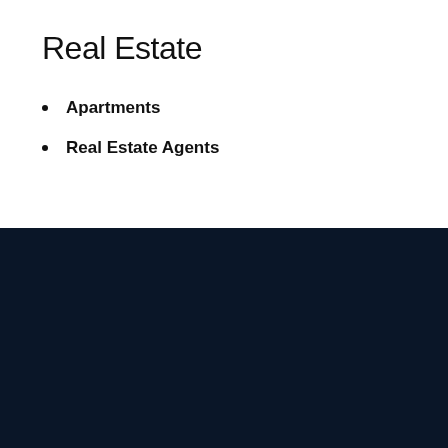Real Estate
Apartments
Real Estate Agents
Latest News
[Figure (photo): Photo of a Lexus LX600 SUV parked in a parking lot, side/rear view]
LEXUS INTRODUCES NEW LX600 SUV
[Figure (photo): Partial photo related to Rocklin water hydrant rupture news story]
ROCKLIN WATER HYDRANT RUPTURE: